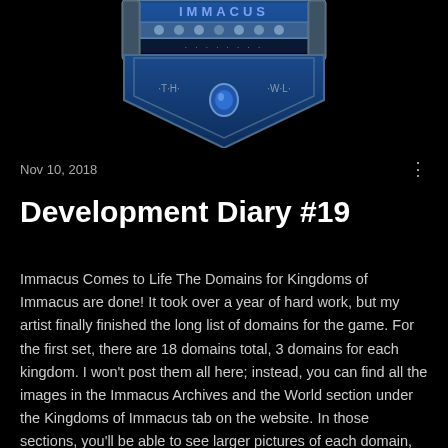[Figure (logo): Kingdoms of Immacus game logo — blue and silver shield/crest shape with fantasy rune symbols and icons across the top portion, partially cropped at top]
Nov 10, 2018
Development Diary #19
Immacus Comes to Life The Domains for Kingdoms of Immacus are done! It took over a year of hard work, but my artist finally finished the long list of domains for the game. For the first set, there are 18 domains total, 3 domains for each kingdom. I won't post them all here; instead, you can find all the images in the Immacus Archives and the World section under the Kingdoms of Immacus tab on the website. In those sections, you'll be able to see larger pictures of each domain,